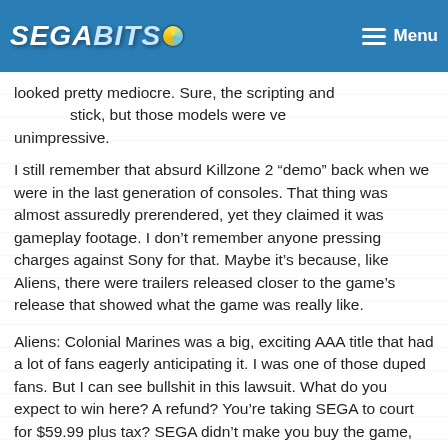SEGABITS — Menu
looked pretty mediocre. Sure, the scripting and [cut off] stick, but those models were ve[ry] unimpressive.
I still remember that absurd Killzone 2 “demo” back when we were in the last generation of consoles. That thing was almost assuredly prerendered, yet they claimed it was gameplay footage. I don’t remember anyone pressing charges against Sony for that. Maybe it’s because, like Aliens, there were trailers released closer to the game’s release that showed what the game was really like.
Aliens: Colonial Marines was a big, exciting AAA title that had a lot of fans eagerly anticipating it. I was one of those duped fans. But I can see bullshit in this lawsuit. What do you expect to win here? A refund? You’re taking SEGA to court for $59.99 plus tax? SEGA didn’t make you buy the game, they didn’t stop you from returning it, and by purchasing it you weren’t put into some